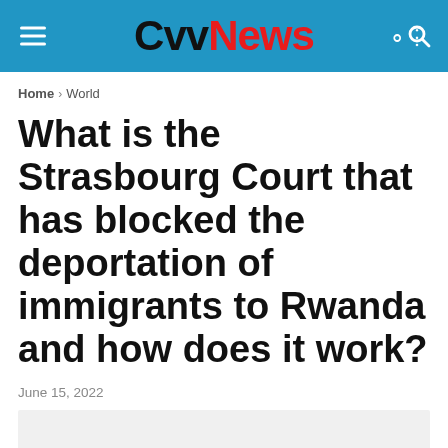CvvNews
Home > World
What is the Strasbourg Court that has blocked the deportation of immigrants to Rwanda and how does it work?
June 15, 2022
[Figure (photo): Gray placeholder image area below the article date]